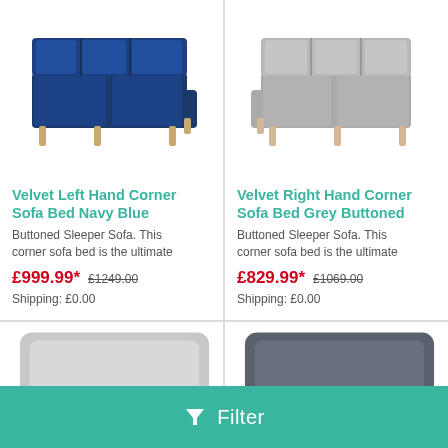[Figure (photo): Navy blue velvet L-shaped corner sofa with wooden legs]
Velvet Left Hand Corner Sofa Bed Navy Blue
Buttoned Sleeper Sofa. This corner sofa bed is the ultimate
£999.99* £1249.00
Shipping: £0.00
[Figure (photo): Grey velvet L-shaped right hand corner sofa with wooden legs]
Velvet Right Hand Corner Sofa Bed Grey Buttoned
Buttoned Sleeper Sofa. This corner sofa bed is the ultimate
£829.99* £1069.00
Shipping: £0.00
[Figure (photo): Light grey sofa/chaise lounge with bolster pillow, cropped view]
[Figure (photo): Dark grey/slate sofa with bolster pillow, cropped view]
Filter